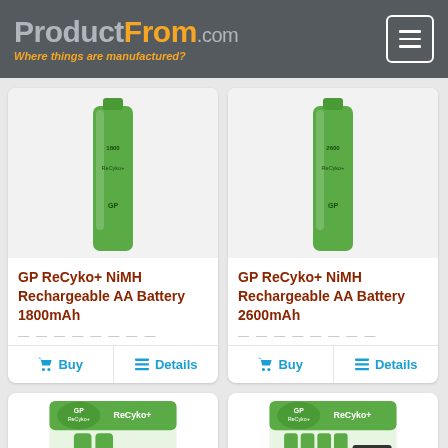ProductFrom.com — Where things are manufactured?
[Figure (photo): GP ReCyko+ NiMH Rechargeable AA Battery 1800mAh — single green battery]
GP ReCyko+ NiMH Rechargeable AA Battery 1800mAh
[Figure (photo): GP ReCyko+ NiMH Rechargeable AA Battery 2600mAh — single green battery]
GP ReCyko+ NiMH Rechargeable AA Battery 2600mAh
[Figure (photo): GP ReCyko+ NiMH AA battery 2-pack blister packaging]
[Figure (photo): GP ReCyko+ NiMH AA battery 4-pack packaging]